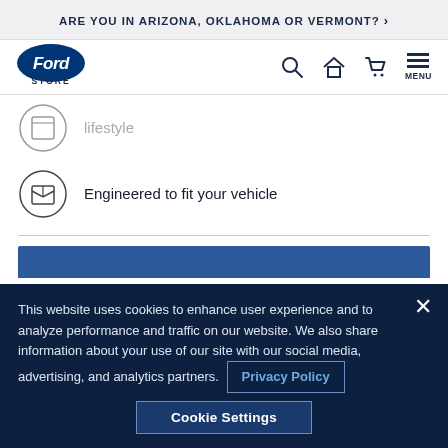ARE YOU IN ARIZONA, OKLAHOMA OR VERMONT? >
[Figure (logo): Ford Store logo — Ford oval badge with 'STORE' text beneath]
lifestyle
Engineered to fit your vehicle
This website uses cookies to enhance user experience and to analyze performance and traffic on our website. We also share information about your use of our site with our social media, advertising, and analytics partners.
Privacy Policy
Cookie Settings